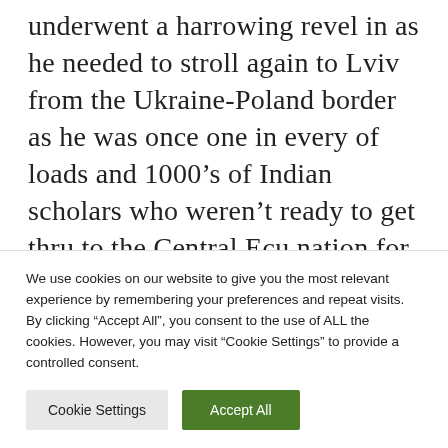underwent a harrowing revel in as he needed to stroll again to Lviv from the Ukraine-Poland border as he was once one in every of loads and 1000’s of Indian scholars who weren’t ready to get thru to the Central Ecu nation for refuge. Mahima Shrivastava, from Bukovinian State Scientific College in Chernivtsi, mentioned that she is enthusiastic about this building however has her
We use cookies on our website to give you the most relevant experience by remembering your preferences and repeat visits. By clicking “Accept All”, you consent to the use of ALL the cookies. However, you may visit “Cookie Settings” to provide a controlled consent.
Cookie Settings | Accept All